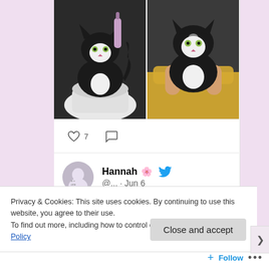[Figure (photo): Two photos of a black and white tuxedo cat side by side: left photo shows cat sitting in a sink/toilet area with a bottle visible; right photo shows the same cat being held with a yellow/mustard cloth.]
♡ 7
[Figure (photo): Twitter/social media post by Hannah (flower emoji) with Twitter bird logo, handle @... · Jun 6, saying: Any Hannahs out there fancy a proof copy of Yes, No, Maybe So by Becky Albertalli and Aisha Saeed?]
Privacy & Cookies: This site uses cookies. By continuing to use this website, you agree to their use.
To find out more, including how to control cookies, see here: Cookie Policy
Close and accept
Follow